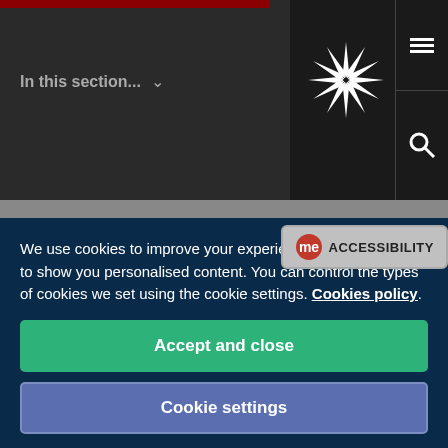In this section...
If you are an international student pay a non-refundable deposit of 5 tuition fee before you can receive your Confirmation of Acceptance for Studies (CAS) letter. This deposit becomes the first part of your tuition fee payment.
[Figure (other): Accessibility widget with 'me' speech bubble icon and ACCESSIBILITY label]
We use cookies to improve your experience on our site and to show you personalised content. You can control the types of cookies we set using the cookie settings. Cookies policy.
Accept and close
Cookie settings